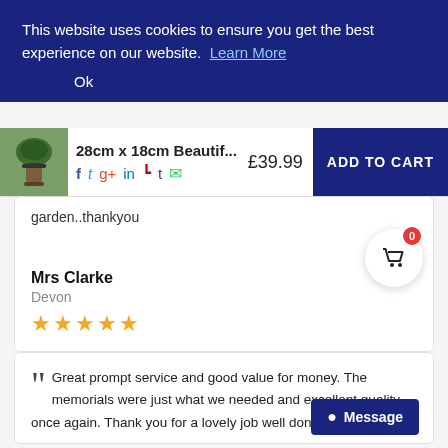This website uses cookies to ensure you get the best experience on our website. Learn More
Ok
28cm x 18cm Beautif... £39.99 ADD TO CART
garden..thankyou
Mrs Clarke
Devon
★★★★★
Great prompt service and good value for money. The memorials were just what we needed and excellent quality once again. Thank you for a lovely job well done.